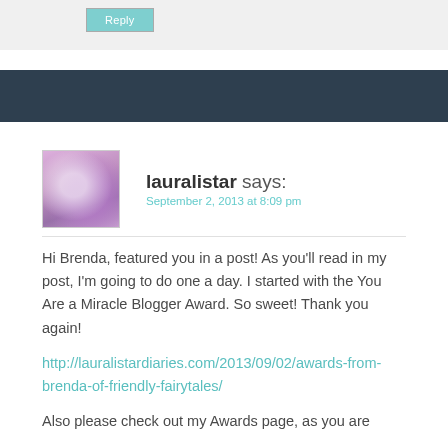[Figure (illustration): Reply button (teal/cyan colored button with text 'Reply') on a light gray background section]
[Figure (illustration): Dark navy/slate colored horizontal bar divider]
[Figure (photo): Avatar image of user lauralistar - purple/pink flower or abstract image]
lauralistar says:
September 2, 2013 at 8:09 pm
Hi Brenda, featured you in a post! As you'll read in my post, I'm going to do one a day. I started with the You Are a Miracle Blogger Award. So sweet! Thank you again!
http://lauralistardiaries.com/2013/09/02/awards-from-brenda-of-friendly-fairytales/
Also please check out my Awards page, as you are